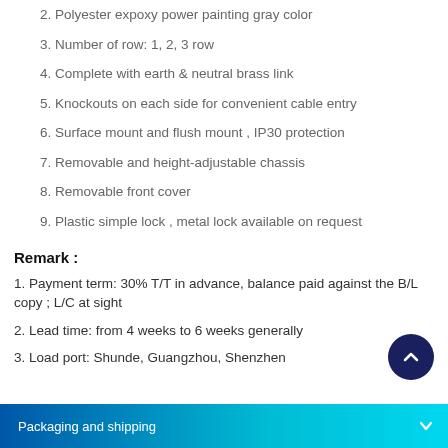2. Polyester expoxy power painting gray color
3. Number of row: 1, 2, 3 row
4. Complete with earth & neutral brass link
5. Knockouts on each side for convenient cable entry
6. Surface mount and flush mount , IP30 protection
7. Removable and height-adjustable chassis
8. Removable front cover
9. Plastic simple lock , metal lock available on request
Remark :
1. Payment term: 30% T/T in advance, balance paid against the B/L copy ; L/C at sight
2. Lead time: from 4 weeks to 6 weeks generally
3. Load port: Shunde, Guangzhou, Shenzhen
Packaging and shipping